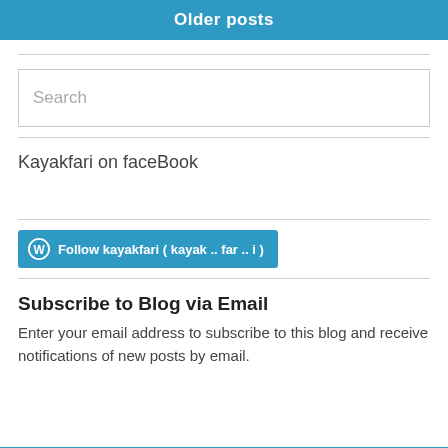Older posts
[Figure (other): Search input box with placeholder text 'Search']
Kayakfari on faceBook
[Figure (other): WordPress Follow button: Follow kayakfari ( kayak .. far .. i )]
Subscribe to Blog via Email
Enter your email address to subscribe to this blog and receive notifications of new posts by email.